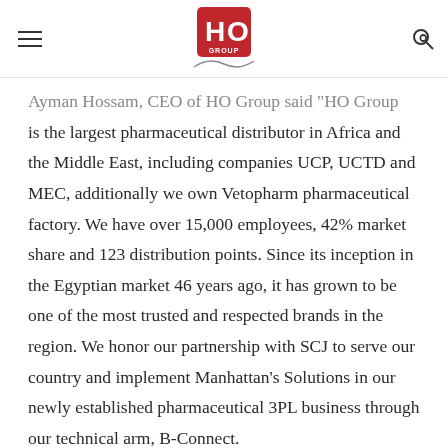HO GROUP
Ayman Hossam, CEO of HO Group said "HO Group is the largest pharmaceutical distributor in Africa and the Middle East, including companies UCP, UCTD and MEC, additionally we own Vetopharm pharmaceutical factory. We have over 15,000 employees, 42% market share and 123 distribution points. Since its inception in the Egyptian market 46 years ago, it has grown to be one of the most trusted and respected brands in the region. We honor our partnership with SCJ to serve our country and implement Manhattan's Solutions in our newly established pharmaceutical 3PL business through our technical arm, B-Connect.